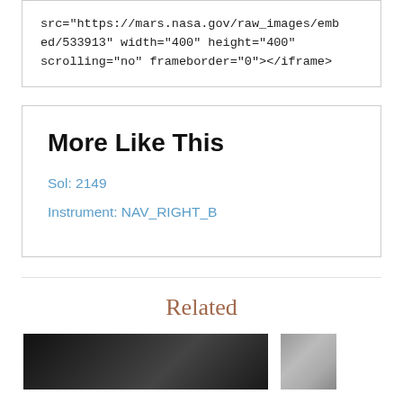src="https://mars.nasa.gov/raw_images/embed/533913" width="400" height="400" scrolling="no" frameborder="0"></iframe>
More Like This
Sol: 2149
Instrument: NAV_RIGHT_B
Related
[Figure (photo): Dark/black and white thumbnail images at bottom of page]